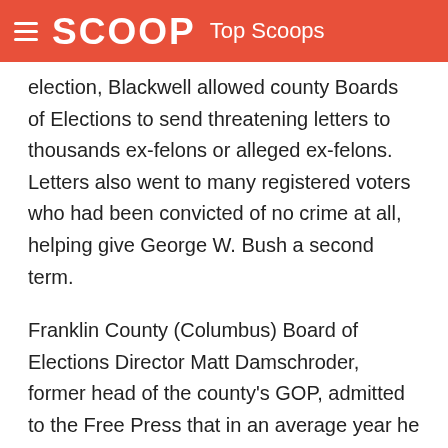SCOOP Top Scoops
election, Blackwell allowed county Boards of Elections to send threatening letters to thousands ex-felons or alleged ex-felons. Letters also went to many registered voters who had been convicted of no crime at all, helping give George W. Bush a second term.
Franklin County (Columbus) Board of Elections Director Matt Damschroder, former head of the county's GOP, admitted to the Free Press that in an average year he cancels 200-300 felons voting rights. But he said in the 2004 election he cancelled the rights of 3500 alleged former felons to vote. Many of their convictions date back to 1998, and some who received letters had merely been indicted, and had never been